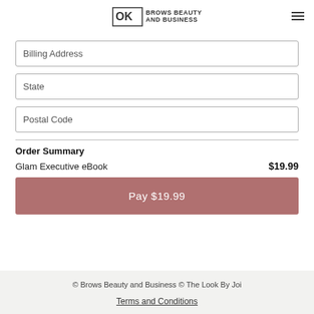LOOK BROWS BEAUTY AND BUSINESS
Billing Address
State
Postal Code
Order Summary
Glam Executive eBook  $19.99
Pay $19.99
© Brows Beauty and Business © The Look By Joi
Terms and Conditions